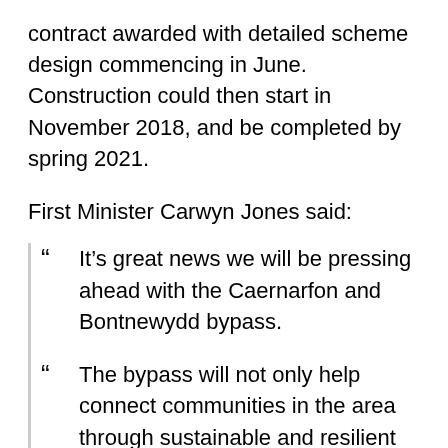contract awarded with detailed scheme design commencing in June. Construction could then start in November 2018, and be completed by spring 2021.
First Minister Carwyn Jones said:
“ It’s great news we will be pressing ahead with the Caernarfon and Bontnewydd bypass.
“ The bypass will not only help connect communities in the area through sustainable and resilient infrastructure, but also provide a vital link to the A55 and beyond to Ireland, England and Europe.
“ It also presents a big opportunity for local employment, workforce training and